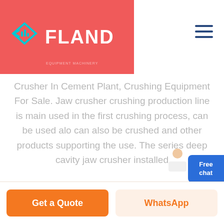[Figure (logo): FLAND company logo with diamond/arrow icon on red background header]
Crusher In Cement Plant, Crushing Equipment For Sale. Jaw crusher crushing production line is mainly used in the first crushing process, can be used alone, can also be crushed and other products supporting the use. The series deep cavity jaw crusher installed
[Figure (other): Free chat widget button (blue rounded rectangle) with customer service person icon]
Get a Quote
WhatsApp